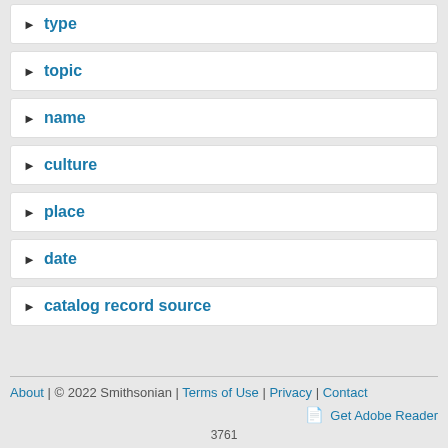▶ type
▶ topic
▶ name
▶ culture
▶ place
▶ date
▶ catalog record source
About | © 2022 Smithsonian | Terms of Use | Privacy | Contact    Get Adobe Reader    3761